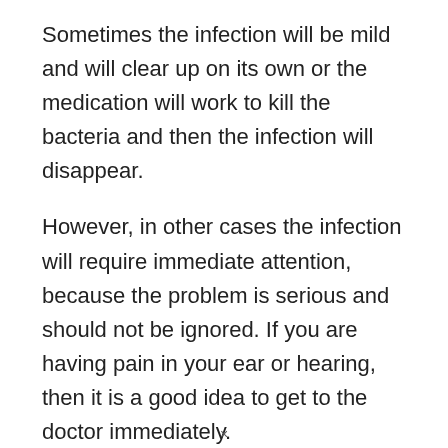Sometimes the infection will be mild and will clear up on its own or the medication will work to kill the bacteria and then the infection will disappear.
However, in other cases the infection will require immediate attention, because the problem is serious and should not be ignored. If you are having pain in your ear or hearing, then it is a good idea to get to the doctor immediately.
Infections of the Eustachian tube can lead to hearing loss, but it is rare. It is very painful because of the blockage that is present in the tubes. It can be difficult to diagnose, and it takes a lot of time to clear
×